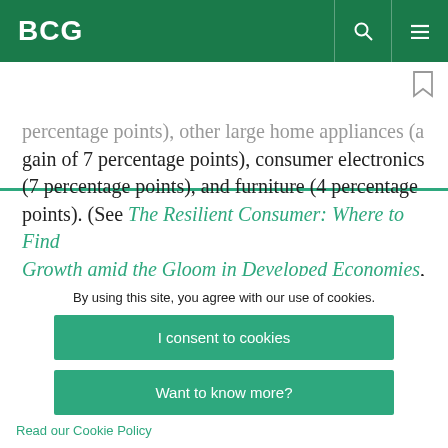BCG
percentage points), other large home appliances (a gain of 7 percentage points), consumer electronics (7 percentage points), and furniture (4 percentage points). (See The Resilient Consumer: Where to Find Growth amid the Gloom in Developed Economies, BCG Focus, October 2013.)
By using this site, you agree with our use of cookies.
I consent to cookies
Want to know more?
Read our Cookie Policy